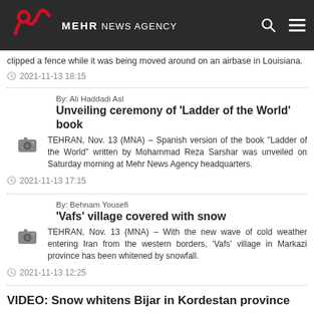MEHR NEWS AGENCY
clipped a fence while it was being moved around on an airbase in Louisiana.
2021-11-13 18:15
By: Ali Haddadi Asl
Unveiling ceremony of 'Ladder of the World' book
TEHRAN, Nov. 13 (MNA) – Spanish version of the book "Ladder of the World" written by Mohammad Reza Sarshar was unveiled on Saturday morning at Mehr News Agency headquarters.
2021-11-13 17:15
By: Behnam Yousefi
'Vafs' village covered with snow
TEHRAN, Nov. 13 (MNA) – With the new wave of cold weather entering Iran from the western borders, 'Vafs' village in Markazi province has been whitened by snowfall.
2021-11-13 12:25
VIDEO: Snow whitens Bijar in Kordestan province